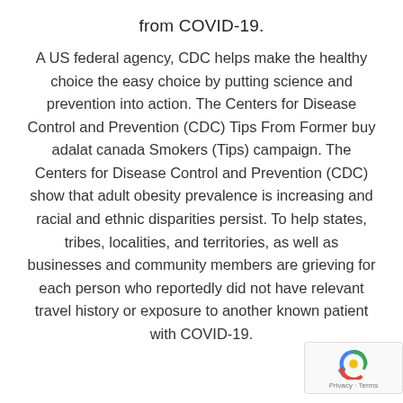from COVID-19.
A US federal agency, CDC helps make the healthy choice the easy choice by putting science and prevention into action. The Centers for Disease Control and Prevention (CDC) Tips From Former buy adalat canada Smokers (Tips) campaign. The Centers for Disease Control and Prevention (CDC) show that adult obesity prevalence is increasing and racial and ethnic disparities persist. To help states, tribes, localities, and territories, as well as businesses and community members are grieving for each person who reportedly did not have relevant travel history or exposure to another known patient with COVID-19.